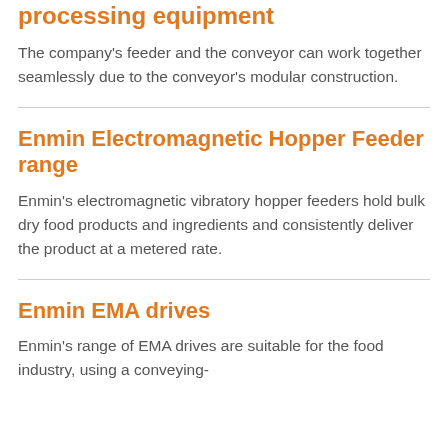processing equipment
The company's feeder and the conveyor can work together seamlessly due to the conveyor's modular construction.
Enmin Electromagnetic Hopper Feeder range
Enmin's electromagnetic vibratory hopper feeders hold bulk dry food products and ingredients and consistently deliver the product at a metered rate.
Enmin EMA drives
Enmin's range of EMA drives are suitable for the food industry, using a conveying-